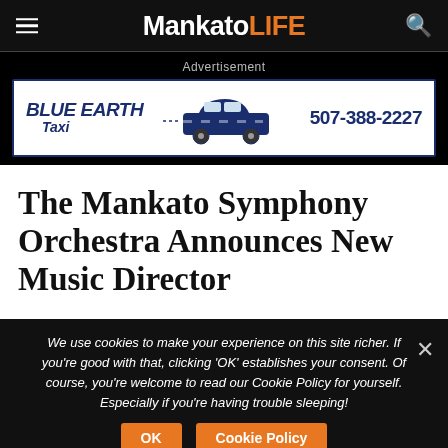MankatoLIFE
Advertisement
[Figure (illustration): Blue Earth Taxi advertisement banner with taxi car graphic and phone number 507-388-2227]
The Mankato Symphony Orchestra Announces New Music Director
We use cookies to make your experience on this site richer. If you're good with that, clicking 'OK' establishes your consent. Of course, you're welcome to read our Cookie Policy for yourself. Especially if you're having trouble sleeping!
OK   Cookie Policy